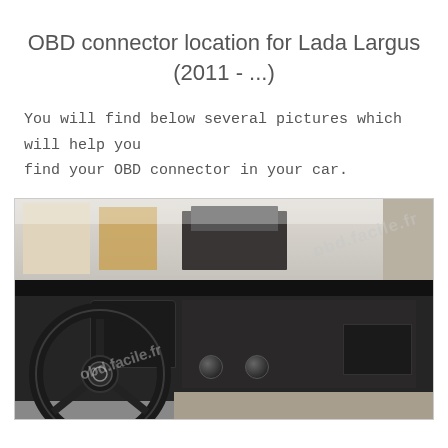OBD connector location for Lada Largus (2011 - ...)
You will find below several pictures which will help you find your OBD connector in your car.
[Figure (photo): Interior photo of a Lada Largus car showing the dashboard, steering wheel, and windshield with an outdoor scene visible. A watermark reading 'obd.facile.fr' is overlaid diagonally on the image.]